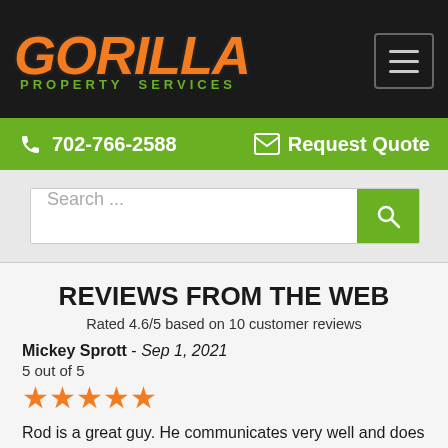GORILLA PROPERTY SERVICES
702-766-2588   Request Quote
Search ...
REVIEWS FROM THE WEB
Rated 4.6/5 based on 10 customer reviews
Mickey Sprott - Sep 1, 2021
5 out of 5
★★★★★
Rod is a great guy. He communicates very well and does what he says he is going to do. Very happy with the